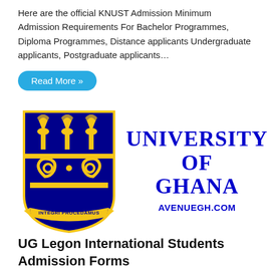Here are the official KNUST Admission Minimum Admission Requirements For Bachelor Programmes, Diploma Programmes, Distance applicants Undergraduate applicants, Postgraduate applicants…
Read More »
[Figure (logo): University of Ghana crest/shield logo on left with navy blue background, yellow Adinkra symbols and torch motifs, motto 'INTEGRI PROCEDAMUS'. To the right: 'UNIVERSITY OF GHANA' in large bold blue serif font, and 'AVENUEGH.COM' below in smaller blue bold text.]
UG Legon International Students Admission Forms